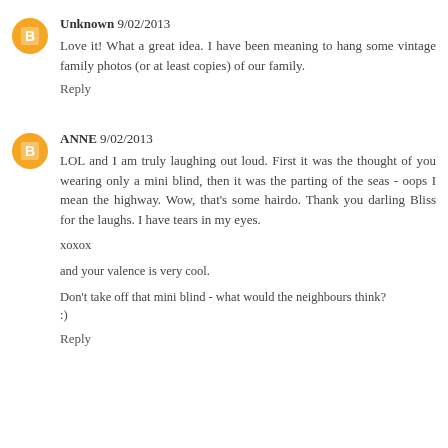Unknown 9/02/2013
Love it! What a great idea. I have been meaning to hang some vintage family photos (or at least copies) of our family.
Reply
ANNE 9/02/2013
LOL and I am truly laughing out loud. First it was the thought of you wearing only a mini blind, then it was the parting of the seas - oops I mean the highway. Wow, that's some hairdo. Thank you darling Bliss for the laughs. I have tears in my eyes.
xoxox
and your valence is very cool.
Don't take off that mini blind - what would the neighbours think? :)
Reply